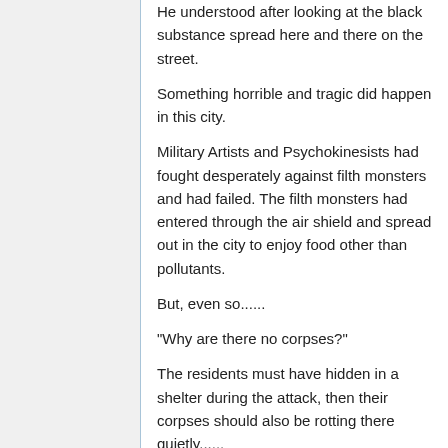He understood after looking at the black substance spread here and there on the street.
Something horrible and tragic did happen in this city.
Military Artists and Psychokinesists had fought desperately against filth monsters and had failed. The filth monsters had entered through the air shield and spread out in the city to enjoy food other than pollutants.
But, even so......
"Why are there no corpses?"
The residents must have hidden in a shelter during the attack, then their corpses should also be rotting there quietly......
"It's strange there aren't any Military Artists' corpses here."